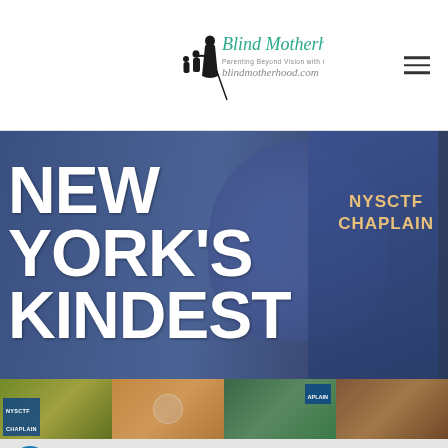[Figure (logo): Blind Motherhood logo with silhouette of mother and children and white cane, with teal script text]
[Figure (photo): Main banner image with text 'NEW YORK'S KINDEST' overlaid in large white bold font on background of people in blue NYSCTF Chaplain shirts]
[Figure (photo): Strip of four thumbnail photos related to NYSCTF Chaplain events]
Screen Reader
[Figure (screenshot): Screen reader accessibility toolbar with playback and text controls]